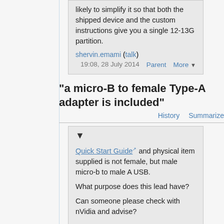likely to simplify it so that both the shipped device and the custom instructions give you a single 12-13G partition.
shervin.emami (talk)
19:08, 28 July 2014
Parent   More ▼
"a micro-B to female Type-A adapter is included"
History   Summarize
▼
Quick Start Guide and physical item supplied is not female, but male micro-b to male A USB.
What purpose does this lead have?
Can someone please check with nVidia and advise?